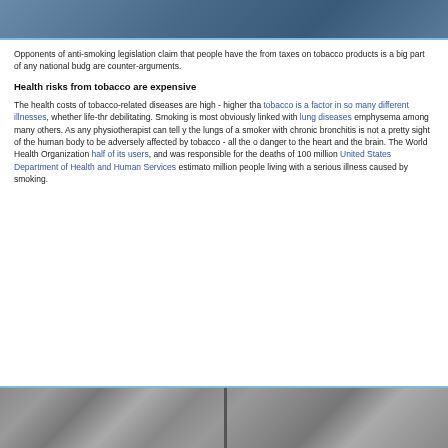[Figure (photo): Top portion of page showing a photo with blue border/background, partially cropped]
Opponents of anti-smoking legislation claim that people have the from taxes on tobacco products is a big part of any national budg are counter-arguments.
Health risks from tobacco are expensive
The health costs of tobacco-related diseases are high - higher tha tobacco is a factor in so many different illnesses, whether life-thr debilitating. Smoking is most obviously linked with lung diseases emphysema among many others. As any physiotherapist can tell y the lungs of a smoker with chronic bronchitis is not a pretty sight of the human body to be adversely affected by tobacco - all the o danger to the heart and the brain. The World Health Organization half of its users, and was responsible for the deaths of 100 million United States Department of Health and Human Services estimato million people living with a serious illness caused by smoking.
[Figure (photo): Bottom portion of page showing a stone/granite texture photo with blue border, partially cropped]